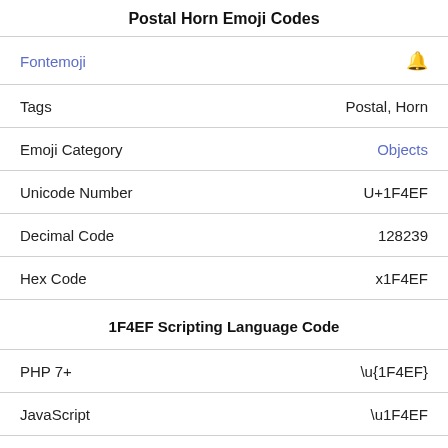Postal Horn Emoji Codes
|  |  |
| --- | --- |
| Fontemoji | 🔔 |
| Tags | Postal, Horn |
| Emoji Category | Objects |
| Unicode Number | U+1F4EF |
| Decimal Code | 128239 |
| Hex Code | x1F4EF |
1F4EF Scripting Language Code
|  |  |
| --- | --- |
| PHP 7+ | \u{1F4EF} |
| JavaScript | \u1F4EF |